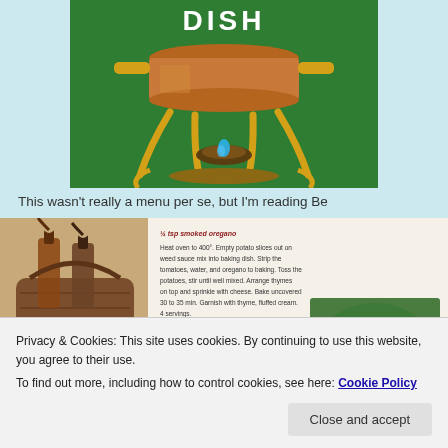[Figure (photo): Book cover showing a copper chafing dish on a green background with 'COOK BOOK' text visible]
This wasn't really a menu per se, but I'm reading Be
[Figure (photo): Photo of oil/vinegar bottles in a wicker basket on a wood table, next to an open cookbook page with a recipe and garnished dish]
Privacy & Cookies: This site uses cookies. By continuing to use this website, you agree to their use.
To find out more, including how to control cookies, see here: Cookie Policy
Close and accept